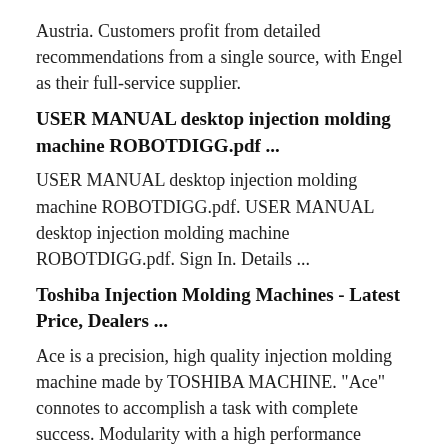Austria. Customers profit from detailed recommendations from a single source, with Engel as their full-service supplier.
USER MANUAL desktop injection molding machine ROBOTDIGG.pdf ...
USER MANUAL desktop injection molding machine ROBOTDIGG.pdf. USER MANUAL desktop injection molding machine ROBOTDIGG.pdf. Sign In. Details ...
Toshiba Injection Molding Machines - Latest Price, Dealers ...
Ace is a precision, high quality injection molding machine made by TOSHIBA MACHINE. "Ace" connotes to accomplish a task with complete success. Modularity with a high performance profile The Ace GenXt machine series is perfectly matched to user needs in the clamp force range up to 10, 000 kN: With extensive standard equipment...